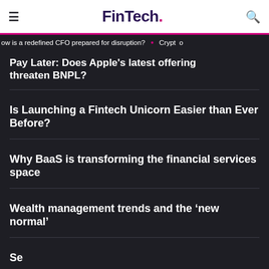FinTech.
ow is a redefined CFO prepared for disruption? • Crypto
Pay Later: Does Apple's latest offering threaten BNPL?
Is Launching a Fintech Unicorn Easier than Ever Before?
Why BaaS is transforming the financial services space
Wealth management trends and the 'new normal'
Sec...